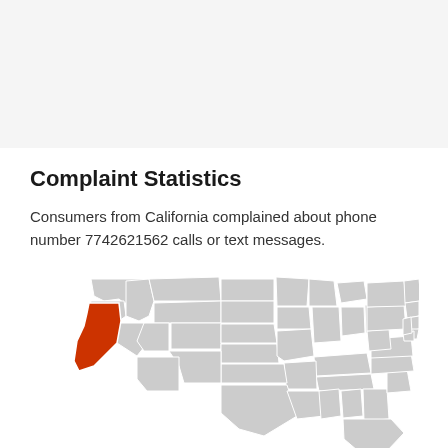Complaint Statistics
Consumers from California complained about phone number 7742621562 calls or text messages.
[Figure (map): Map of the contiguous United States with California highlighted in red/orange and all other states shown in light gray.]